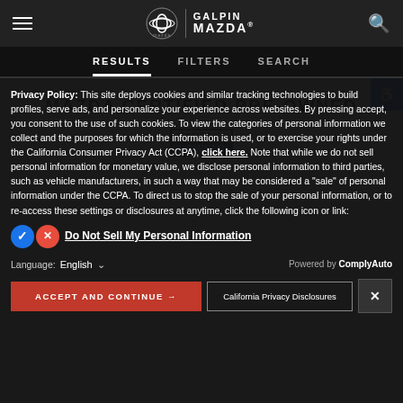Galpin Mazda — Navigation header with hamburger menu, Mazda/Galpin logo, and search icon
RESULTS   FILTERS   SEARCH
MAZDA CERTIFIED PRE-OWNED
[Figure (logo): CARFAX 1 OWNER badge]
Privacy Policy: This site deploys cookies and similar tracking technologies to build profiles, serve ads, and personalize your experience across websites. By pressing accept, you consent to the use of such cookies. To view the categories of personal information we collect and the purposes for which the information is used, or to exercise your rights under the California Consumer Privacy Act (CCPA), click here. Note that while we do not sell personal information for monetary value, we disclose personal information to third parties, such as vehicle manufacturers, in such a way that may be considered a "sale" of personal information under the CCPA. To direct us to stop the sale of your personal information, or to re-access these settings or disclosures at anytime, click the following icon or link:
Do Not Sell My Personal Information
Language: English   Powered by ComplyAuto
ACCEPT AND CONTINUE →   California Privacy Disclosures   ×